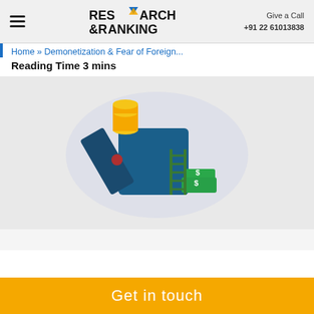Research & Ranking | Give a Call +91 22 61013838
Home » Demonetization & Fear of Foreign...
Reading Time 3 mins
[Figure (illustration): 3D isometric illustration of a blue safe/vault open with gold coins stacked beside it, green money bundles and a small ladder leaning against it, on a light blue cloud-like background shape, all on a gray background.]
Get in touch